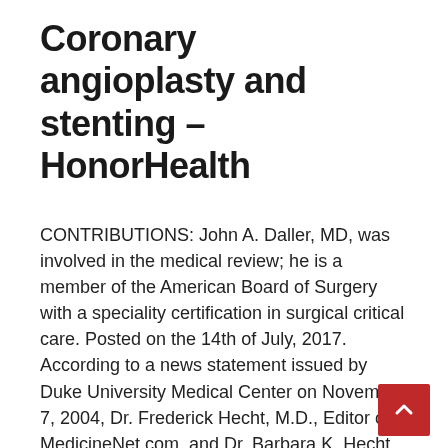Coronary angioplasty and stenting – HonorHealth
CONTRIBUTIONS: John A. Daller, MD, was involved in the medical review; he is a member of the American Board of Surgery with a speciality certification in surgical critical care. Posted on the 14th of July, 2017. According to a news statement issued by Duke University Medical Center on November 7, 2004, Dr. Frederick Hecht, M.D., Editor of MedicineNet.com, and Dr. Barbara K. Hecht (Ph.D., MedicineNet.com Editor, and Dr. Frederick Hecht (MD, MedicineNet.com Editor) Well MD. Id. Scienthe editor for the